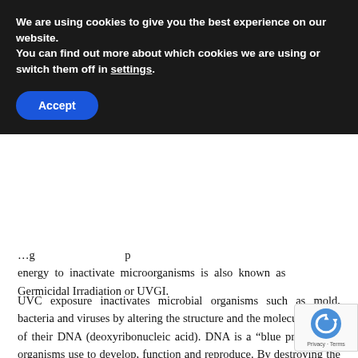We are using cookies to give you the best experience on our website.
You can find out more about which cookies we are using or switch them off in settings.
Accept
energy to inactivate microorganisms is also known as Germicidal Irradiation or UVGI.
UVC exposure inactivates microbial organisms such as mold, bacteria and viruses by altering the structure and the molecular bonds of their DNA (deoxyribonucleic acid). DNA is a “blue print” these organisms use to develop, function and reproduce. By destroying the organism’s ability to reproduce, it becomes harmless since it cannot colonize. After UVC exposure the organism dies off leaving no offspring, and the population of the microorganism diminishes rapidly.
[Figure (logo): reCAPTCHA logo with Privacy and Terms links]